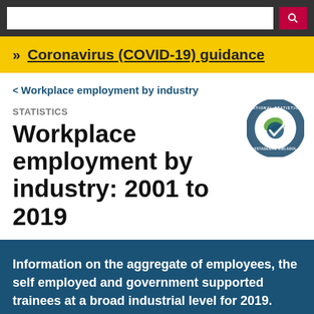[Search bar and navigation header]
>> Coronavirus (COVID-19) guidance
< Workplace employment by industry
STATISTICS
Workplace employment by industry: 2001 to 2019
Information on the aggregate of employees, the self employed and government supported trainees at a broad industrial level for 2019.